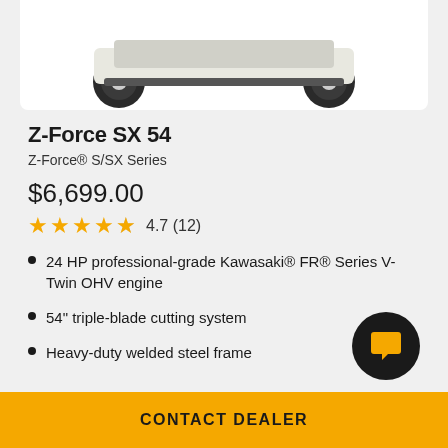[Figure (photo): Partial bottom view of a zero-turn riding lawn mower (Z-Force SX 54) shown from above with rear wheels visible, white body on white background]
Z-Force SX 54
Z-Force® S/SX Series
$6,699.00
4.7 (12)
24 HP professional-grade Kawasaki® FR® Series V-Twin OHV engine
54" triple-blade cutting system
Heavy-duty welded steel frame
CONTACT DEALER